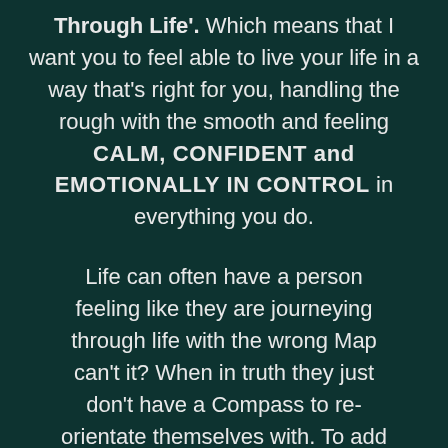Through Life'. Which means that I want you to feel able to live your life in a way that's right for you, handling the rough with the smooth and feeling CALM, CONFIDENT and EMOTIONALLY IN CONTROL in everything you do.

Life can often have a person feeling like they are journeying through life with the wrong Map can't it? When in truth they just don't have a Compass to re-orientate themselves with. To add further problems their Sat. Nav has old